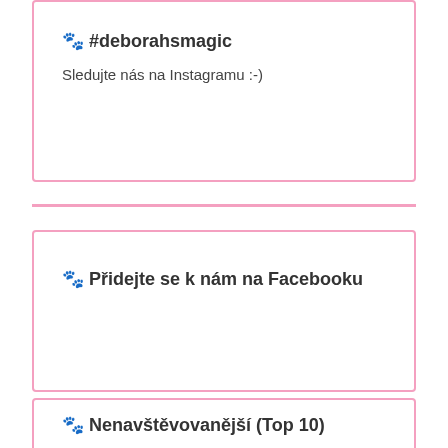🐾 #deborahsmagic
Sledujte nás na Instagramu :-)
🐾 Přidejte se k nám na Facebooku
🐾 Nenavštěvovanější (Top 10)